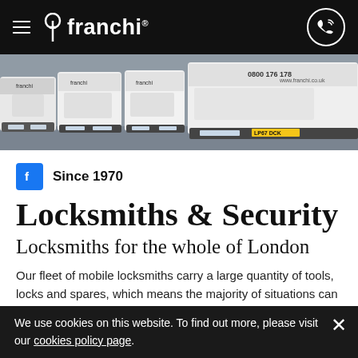franchi
[Figure (photo): A fleet of white Franchi-branded vans parked in a lot, rear view showing number plates and branding with phone number 0800 176 178]
Since 1970
Locksmiths & Security
Locksmiths for the whole of London
Our fleet of mobile locksmiths carry a large quantity of tools, locks and spares, which means the majority of situations can be solved without the need to stop for parts.
We use cookies on this website. To find out more, please visit our cookies policy page.